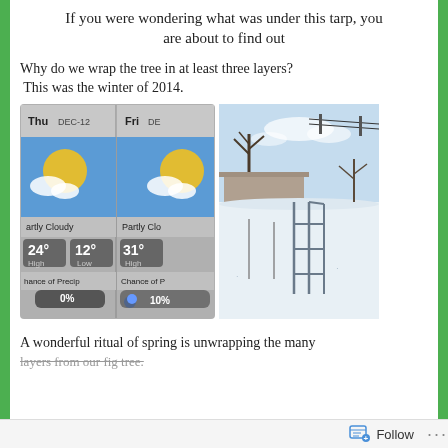If you were wondering what was under this tarp, you are about to find out
Why do we wrap the tree in at least three layers?
 This was the winter of 2014.
[Figure (screenshot): Weather app screenshot showing Thu DEC-12 with Partly Cloudy, High 24° Low 12°, 0% Chance of Precip; and Fri DE with Partly Cloudy, High 31°, 10% Chance of Precip]
[Figure (photo): Winter outdoor scene showing a snow-covered landscape with bare trees and a metal frame structure, under a pale sky]
A wonderful ritual of spring is unwrapping the many layers from our fig tree.